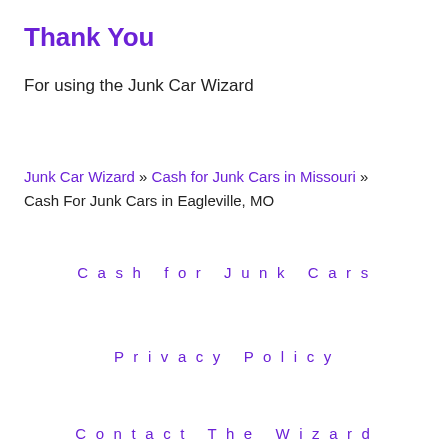Thank You
For using the Junk Car Wizard
Junk Car Wizard » Cash for Junk Cars in Missouri » Cash For Junk Cars in Eagleville, MO
Cash for Junk Cars
Privacy Policy
Contact The Wizard